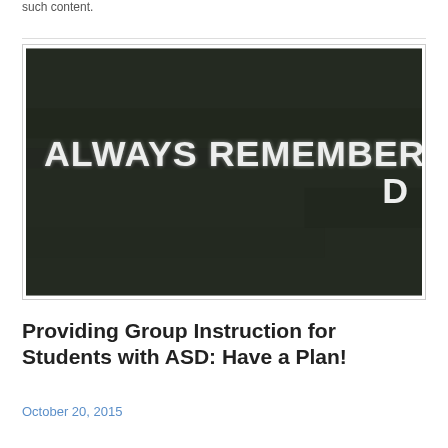such content.
[Figure (photo): A dark chalkboard with the text 'ALWAYS REMEMBER TO PLAN AHEAD' written in white chalk lettering, with the letter D wrapping to a second line at the right edge.]
Providing Group Instruction for Students with ASD: Have a Plan!
October 20, 2015